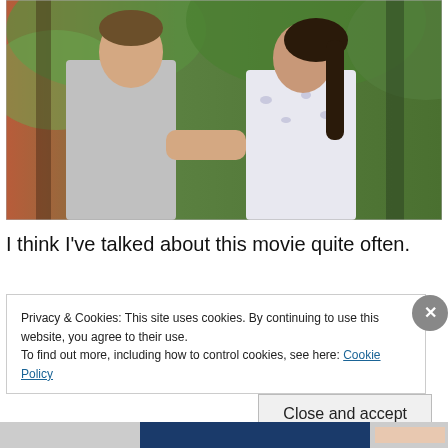[Figure (photo): A man in a grey t-shirt and a woman in a white floral top facing each other outdoors, holding hands, with green trees in the background.]
I think I've talked about this movie quite often.
Privacy & Cookies: This site uses cookies. By continuing to use this website, you agree to their use.
To find out more, including how to control cookies, see here: Cookie Policy
Close and accept